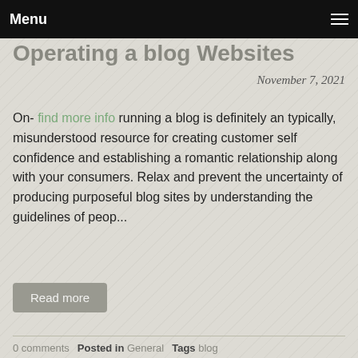Menu
Operating a blog Websites
November 7, 2021
On- find more info running a blog is definitely an typically, misunderstood resource for creating customer self confidence and establishing a romantic relationship along with your consumers. Relax and prevent the uncertainty of producing purposeful blog sites by understanding the guidelines of peop...
Read more
0 comments  Posted in General  Tags blog
4 blog posts